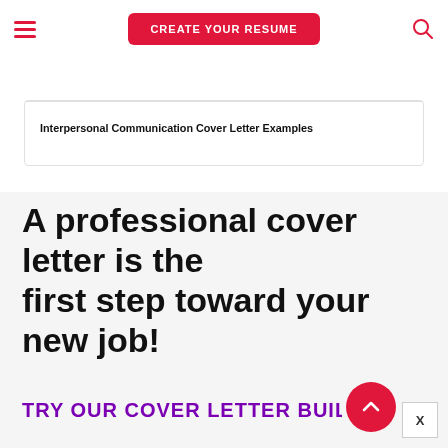CREATE YOUR RESUME
Interpersonal Communication Cover Letter Examples
A professional cover letter is the first step toward your new job!
TRY OUR COVER LETTER BUILDER